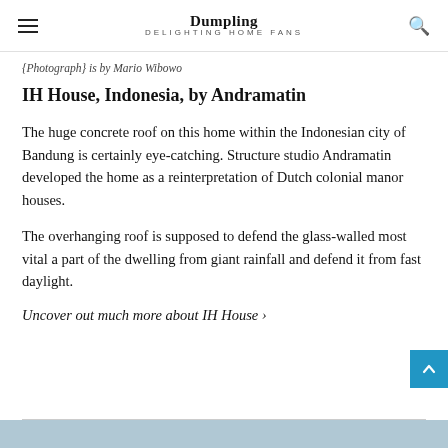Dumpling · DELIGHTING HOME FANS
{Photograph} is by Mario Wibowo
IH House, Indonesia, by Andramatin
The huge concrete roof on this home within the Indonesian city of Bandung is certainly eye-catching. Structure studio Andramatin developed the home as a reinterpretation of Dutch colonial manor houses.
The overhanging roof is supposed to defend the glass-walled most vital a part of the dwelling from giant rainfall and defend it from fast daylight.
Uncover out much more about IH House ›